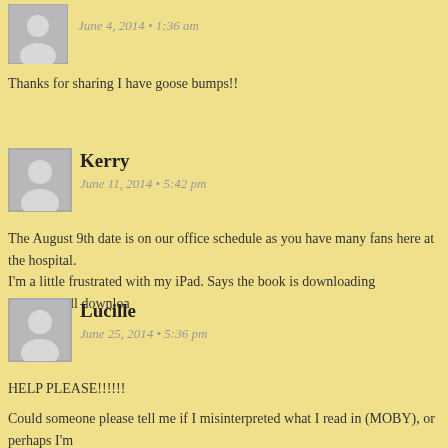[Figure (illustration): Anonymous user avatar placeholder icon]
June 4, 2014 • 1:36 am
Thanks for sharing I have goose bumps!!
[Figure (illustration): Anonymous user avatar placeholder icon for Kerry]
Kerry
June 11, 2014 • 5:42 pm
The August 9th date is on our office schedule as you have many fans here at the hospital. I'm a little frustrated with my iPad. Says the book is downloading ………..still downloa
[Figure (illustration): Anonymous user avatar placeholder icon for Lucille]
Lucille
June 25, 2014 • 5:36 pm
HELP PLEASE!!!!!!
Could someone please tell me if I misinterpreted what I read in (MOBY), or perhaps I'm than I would have thought. Claire speaks and refers to, that Jenny now about her past...